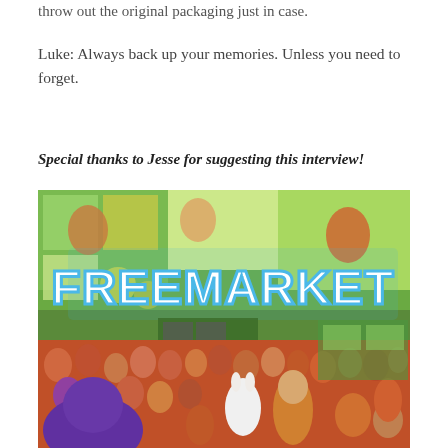throw out the original packaging just in case.
Luke: Always back up your memories. Unless you need to forget.
Special thanks to Jesse for suggesting this interview!
[Figure (photo): Photo of the FreeMarket board game box cover, showing colorful illustrated characters and the title 'FREEMARKET' in large blue bubble letters on a green and orange background with many comic-style figures]